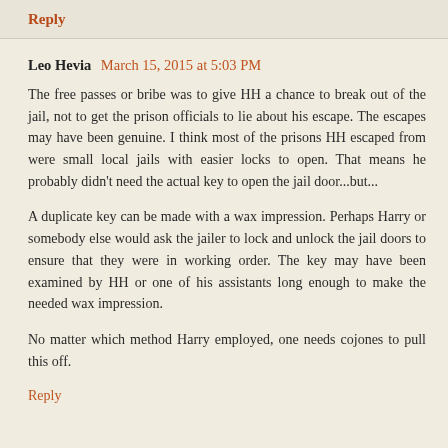Reply
Leo Hevia  March 15, 2015 at 5:03 PM
The free passes or bribe was to give HH a chance to break out of the jail, not to get the prison officials to lie about his escape. The escapes may have been genuine. I think most of the prisons HH escaped from were small local jails with easier locks to open. That means he probably didn't need the actual key to open the jail door...but...
A duplicate key can be made with a wax impression. Perhaps Harry or somebody else would ask the jailer to lock and unlock the jail doors to ensure that they were in working order. The key may have been examined by HH or one of his assistants long enough to make the needed wax impression.
No matter which method Harry employed, one needs cojones to pull this off.
Reply